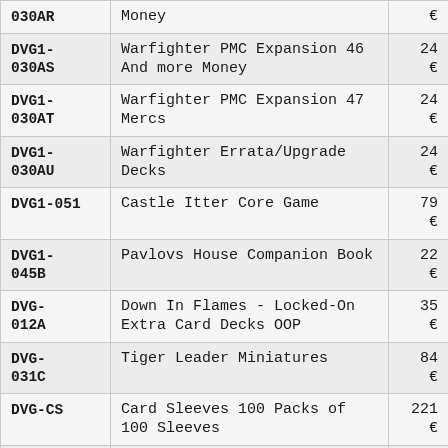| 030AR | Money | € |
| DVG1-030AS | Warfighter PMC Expansion 46 And more Money | 24 € |
| DVG1-030AT | Warfighter PMC Expansion 47 Mercs | 24 € |
| DVG1-030AU | Warfighter Errata/Upgrade Decks | 24 € |
| DVG1-051 | Castle Itter Core Game | 79 € |
| DVG1-045B | Pavlovs House Companion Book | 22 € |
| DVG-012A | Down In Flames - Locked-On Extra Card Decks OOP | 35 € |
| DVG-031C | Tiger Leader Miniatures | 84 € |
| DVG-CS | Card Sleeves 100 Packs of 100 Sleeves | 221 € |
| DVG1- | The Cards of Cthulhu Art of Cloud | 13 |